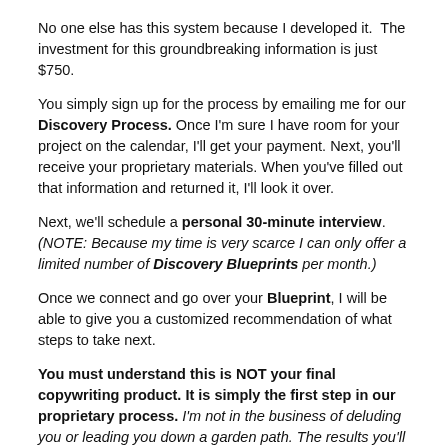No one else has this system because I developed it.  The investment for this groundbreaking information is just $750.
You simply sign up for the process by emailing me for our Discovery Process. Once I'm sure I have room for your project on the calendar, I'll get your payment. Next, you'll receive your proprietary materials. When you've filled out that information and returned it, I'll look it over.
Next, we'll schedule a personal 30-minute interview. (NOTE: Because my time is very scarce I can only offer a limited number of Discovery Blueprints per month.)
Once we connect and go over your Blueprint, I will be able to give you a customized recommendation of what steps to take next.
You must understand this is NOT your final copywriting product. It is simply the first step in our proprietary process. I'm not in the business of deluding you or leading you down a garden path. The results you'll get from the Blueprint are a necessary and required piece to any copywriting project through Red Hot Copy.
Through this process, you not only learn how to understand and